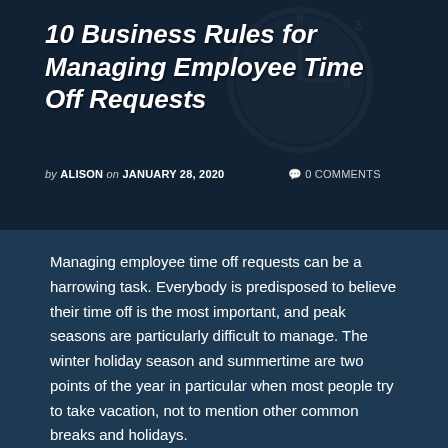[Figure (photo): Header image of a person holding a clock, with dark overlay. Blog post header for '10 Business Rules for Managing Employee Time Off Requests'.]
10 Business Rules for Managing Employee Time Off Requests
by ALISON on JANUARY 28, 2020   0 COMMENTS
Managing employee time off requests can be a harrowing task. Everybody is predisposed to believe their time off is the most important, and peak seasons are particularly difficult to manage. The winter holiday season and summertime are two points of the year in particular when most people try to take vacation, not to mention other common breaks and holidays.
As a manager, there are ways to take the stress out of this scheduling task. Some of following the...